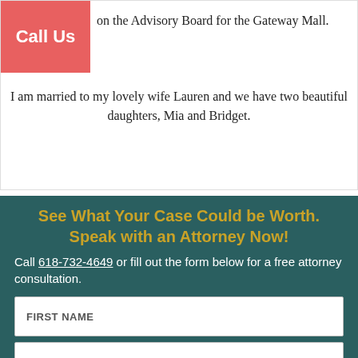on the Advisory Board for the Gateway Mall.
I am married to my lovely wife Lauren and we have two beautiful daughters, Mia and Bridget.
See What Your Case Could be Worth. Speak with an Attorney Now!
Call 618-732-4649 or fill out the form below for a free attorney consultation.
FIRST NAME
LAST NAME
EMAIL
PHONE